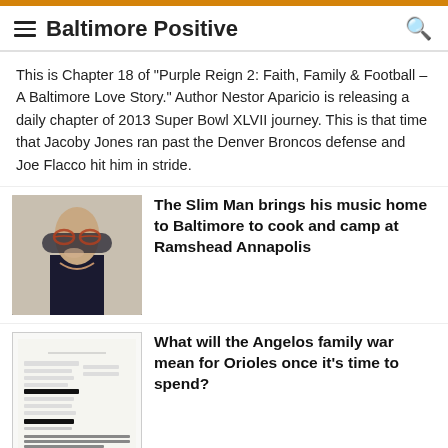Baltimore Positive
This is Chapter 18 of "Purple Reign 2: Faith, Family & Football – A Baltimore Love Story." Author Nestor Aparicio is releasing a daily chapter of 2013 Super Bowl XLVII journey. This is that time that Jacoby Jones ran past the Denver Broncos defense and Joe Flacco hit him in stride.
[Figure (photo): Photo of a smiling man with red-tinted glasses wearing a dark shirt]
The Slim Man brings his music home to Baltimore to cook and camp at Ramshead Annapolis
[Figure (photo): Image of a legal/court document with redacted text]
What will the Angelos family war mean for Orioles once it's time to spend?
[Figure (photo): Partial photo of a person]
Taking Ross Peddicord down the stretch of a great friendship, a great...